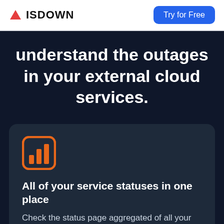ISDOWN | Try for Free
understand the outages in your external cloud services.
[Figure (illustration): Orange bar chart icon inside an orange rounded square border]
All of your service statuses in one place
Check the status page aggregated of all your services in one place. No